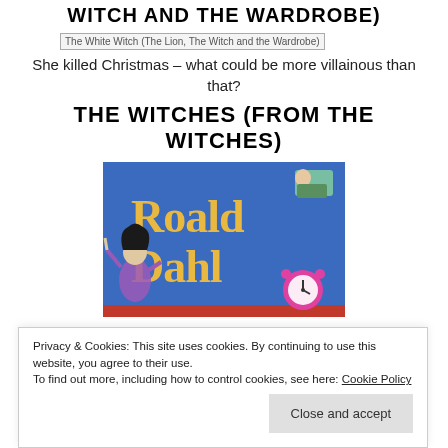WITCH AND THE WARDROBE)
[Figure (photo): Broken image placeholder for The White Witch (The Lion, The Witch and the Wardrobe)]
She killed Christmas – what could be more villainous than that?
THE WITCHES (FROM THE WITCHES)
[Figure (photo): Book cover for Roald Dahl's The Witches — blue cover with yellow 'Roald Dahl' lettering and illustrated characters including a witch on the left, a figure in bed top right, and an alarm clock bottom right, with red strip at the bottom]
Privacy & Cookies: This site uses cookies. By continuing to use this website, you agree to their use.
To find out more, including how to control cookies, see here: Cookie Policy